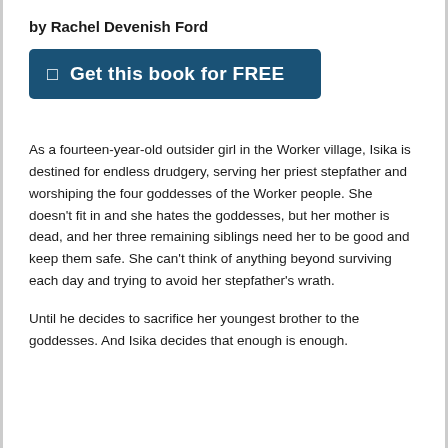by Rachel Devenish Ford
[Figure (other): A teal/dark blue button with text 'Get this book for FREE' and a small icon on the left]
As a fourteen-year-old outsider girl in the Worker village, Isika is destined for endless drudgery, serving her priest stepfather and worshiping the four goddesses of the Worker people. She doesn't fit in and she hates the goddesses, but her mother is dead, and her three remaining siblings need her to be good and keep them safe. She can't think of anything beyond surviving each day and trying to avoid her stepfather's wrath.
Until he decides to sacrifice her youngest brother to the goddesses. And Isika decides that enough is enough.